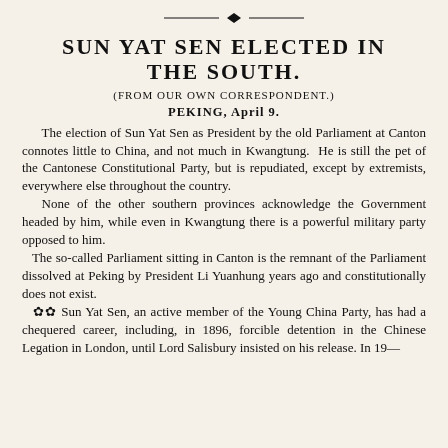SUN YAT SEN ELECTED IN THE SOUTH.
(FROM OUR OWN CORRESPONDENT.)
PEKING, APRIL 9.
The election of Sun Yat Sen as President by the old Parliament at Canton connotes little to China, and not much in Kwangtung. He is still the pet of the Cantonese Constitutional Party, but is repudiated, except by extremists, everywhere else throughout the country.
 None of the other southern provinces acknowledge the Government headed by him, while even in Kwangtung there is a powerful military party opposed to him.
 The so-called Parliament sitting in Canton is the remnant of the Parliament dissolved at Peking by President Li Yuanhung years ago and constitutionally does not exist.
 ❊ Sun Yat Sen, an active member of the Young China Party, has had a chequered career, including, in 1896, forcible detention in the Chinese Legation in London, until Lord Salisbury insisted on his release.